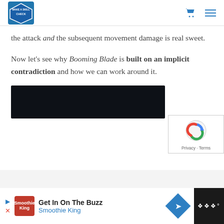Make A Skill Check — navigation header with logo, cart, and menu icons
the attack and the subsequent movement damage is real sweet.
Now let's see why Booming Blade is built on an implicit contradiction and how we can work around it.
[Figure (screenshot): Dark/black rectangular banner image embedded in the article]
[Figure (other): reCAPTCHA badge with Privacy and Terms links]
Advertisement: Get In On The Buzz — Smoothie King